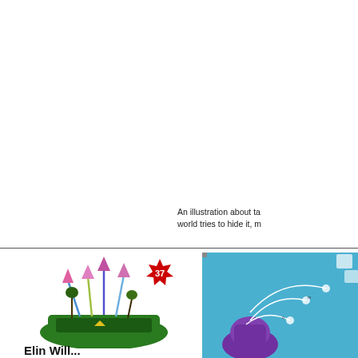[Figure (photo): Partial photo of a dark scene with trees or foliage, cropped in upper right corner]
An illustration about ta world tries to hide it, m
[Figure (illustration): Colorful illustration showing stylized plants/flowers on a green mound, with a red starburst badge showing number 37]
[Figure (illustration): Blue background illustration with a purple figure and white curved lines with small icons]
Elin Will...